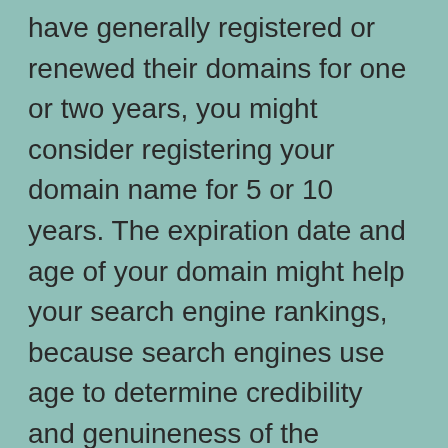have generally registered or renewed their domains for one or two years, you might consider registering your domain name for 5 or 10 years. The expiration date and age of your domain might help your search engine rankings, because search engines use age to determine credibility and genuineness of the business as a whole. Newer domain names with shorter expiration date are sometimes classed as spam sites by search engines. Although in search engines terms this may be only a small victory, but it is a worthwhile effort.
It certainly makes good business sense to